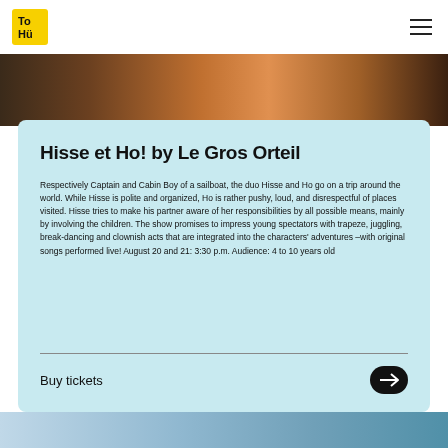TOHU
[Figure (photo): Dark photo strip showing performers on a stage, partially visible at top of page]
Hisse et Ho! by Le Gros Orteil
Respectively Captain and Cabin Boy of a sailboat, the duo Hisse and Ho go on a trip around the world. While Hisse is polite and organized, Ho is rather pushy, loud, and disrespectful of places visited. Hisse tries to make his partner aware of her responsibilities by all possible means, mainly by involving the children. The show promises to impress young spectators with trapeze, juggling, break-dancing and clownish acts that are integrated into the characters' adventures –with original songs performed live! August 20 and 21: 3:30 p.m. Audience: 4 to 10 years old
Buy tickets
[Figure (photo): Partial photo at bottom of page, appears to be outdoor or performance scene]